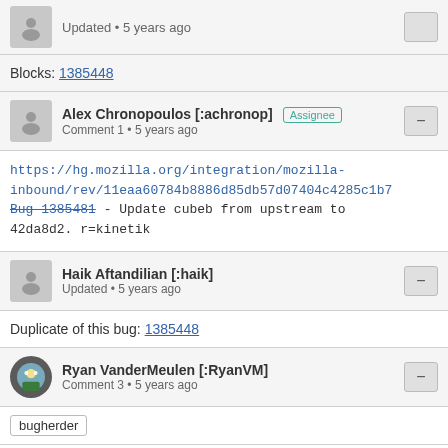Updated • 5 years ago
Blocks: 1385448
Alex Chronopoulos [:achronop] Assignee
Comment 1 • 5 years ago
https://hg.mozilla.org/integration/mozilla-inbound/rev/11eaa60784b8886d85db57d07404c4285c1b7... Bug 1385481 - Update cubeb from upstream to 42da8d2. r=kinetik
Haik Aftandilian [:haik]
Updated • 5 years ago
Duplicate of this bug: 1385448
Ryan VanderMeulen [:RyanVM]
Comment 3 • 5 years ago
bugherder
https://hg.mozilla.org/mozilla-